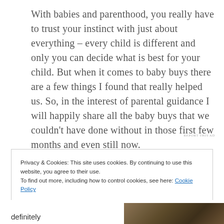With babies and parenthood, you really have to trust your instinct with just about everything – every child is different and only you can decide what is best for your child. But when it comes to baby buys there are a few things I found that really helped us. So, in the interest of parental guidance I will happily share all the baby buys that we couldn't have done without in those first few months and even still now.
REPORT THIS AD
Privacy & Cookies: This site uses cookies. By continuing to use this website, you agree to their use.
To find out more, including how to control cookies, see here: Cookie Policy
Close and accept
definitely